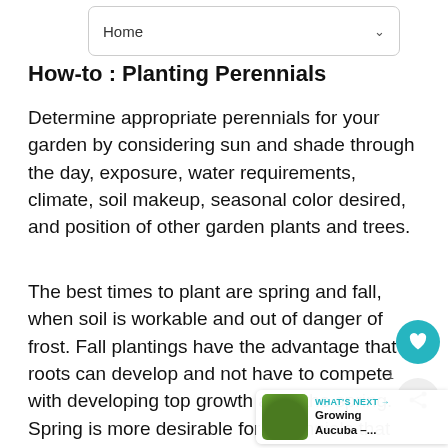Home
How-to : Planting Perennials
Determine appropriate perennials for your garden by considering sun and shade through the day, exposure, water requirements, climate, soil makeup, seasonal color desired, and position of other garden plants and trees.
The best times to plant are spring and fall, when soil is workable and out of danger of frost. Fall plantings have the advantage that roots can develop and not have to compete with developing top growth as in the spring. Spring is more desirable for perennials that dislike wet conditions or for colder areas, allowing fall to establish roots before first winter.
[Figure (other): Heart/like button (teal circle with heart icon) and share button, with count badge '1'. Also a 'WHAT'S NEXT' panel showing a link to 'Growing Aucuba -...' with a green plant thumbnail.]